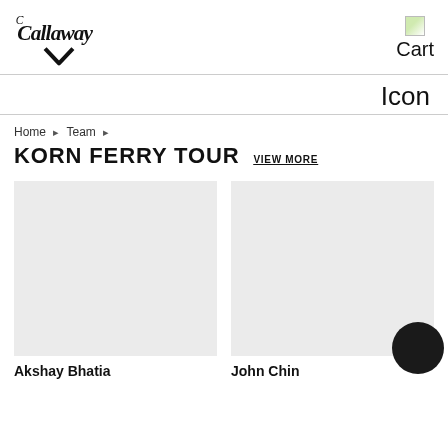[Figure (logo): Callaway golf brand logo with stylized script text and chevron below]
[Figure (other): Cart icon placeholder image (broken/loading)]
Cart
Icon
Home ❯ Team ❯
KORN FERRY TOUR VIEW MORE
[Figure (photo): Placeholder image for Akshay Bhatia (light grey rectangle)]
Akshay Bhatia
[Figure (photo): Placeholder image for John Chin (light grey rectangle) with dark circular element at bottom right]
John Chin